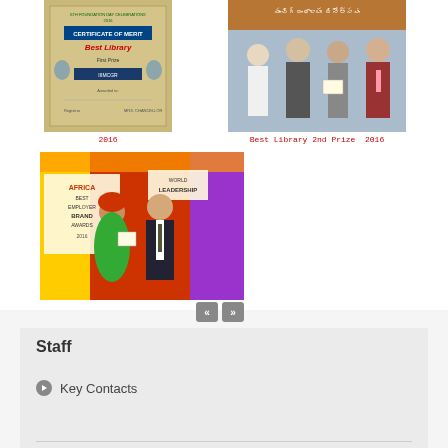[Figure (photo): Certificate of Merit Best Library First Prize 2016 document photo]
2016
[Figure (photo): Award ceremony photo with people on stage, Telugu text banner, Best Library 2nd Prize 2016]
Best Library 2nd Prize  2016
[Figure (photo): Africa Best Employer Brand Awards ceremony photo with two people holding award certificate, colorful backdrop with leadership banners]
« »
Staff
Key Contacts